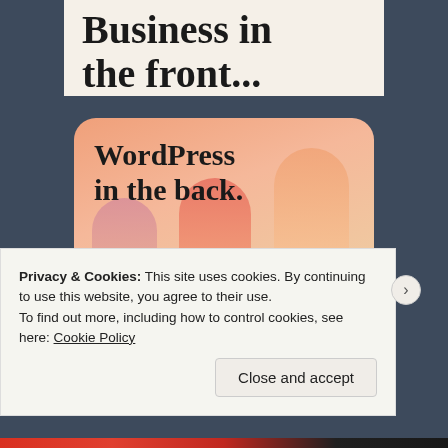Business in the front...
[Figure (illustration): Orange rounded card with decorative vertical pill shapes and bold serif text reading 'WordPress in the back.']
Privacy & Cookies: This site uses cookies. By continuing to use this website, you agree to their use.
To find out more, including how to control cookies, see here: Cookie Policy
Close and accept